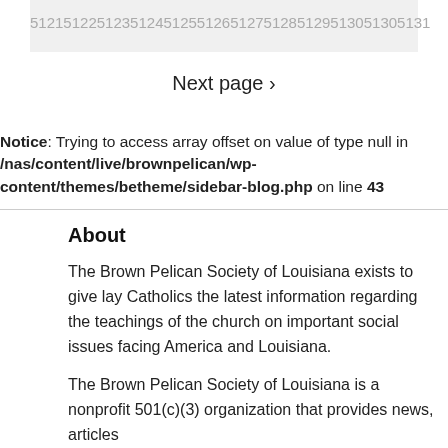512151225123512451255126512751285129513051305131
Next page ›
Notice: Trying to access array offset on value of type null in /nas/content/live/brownpelican/wp-content/themes/betheme/sidebar-blog.php on line 43
About
The Brown Pelican Society of Louisiana exists to give lay Catholics the latest information regarding the teachings of the church on important social issues facing America and Louisiana.
The Brown Pelican Society of Louisiana is a nonprofit 501(c)(3) organization that provides news, articles